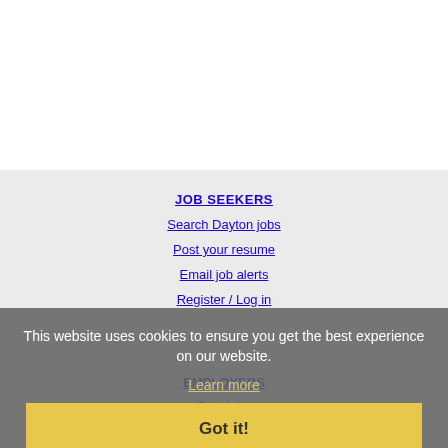JOB SEEKERS
Search Dayton jobs
Post your resume
Email job alerts
Register / Log in
This website uses cookies to ensure you get the best experience on our website.
Learn more
Got it!
EMPLOYERS
Post jobs
Search resumes
Email resume alerts
Advertise